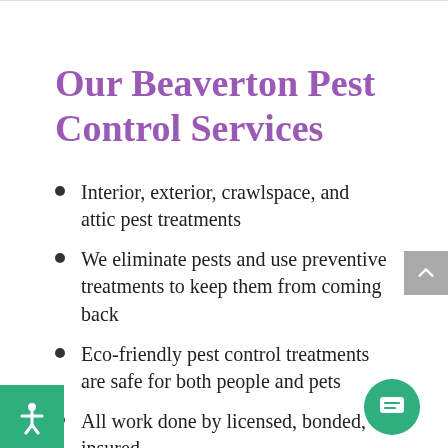Our Beaverton Pest Control Services
Interior, exterior, crawlspace, and attic pest treatments
We eliminate pests and use preventive treatments to keep them from coming back
Eco-friendly pest control treatments are safe for both people and pets
All work done by licensed, bonded, insured